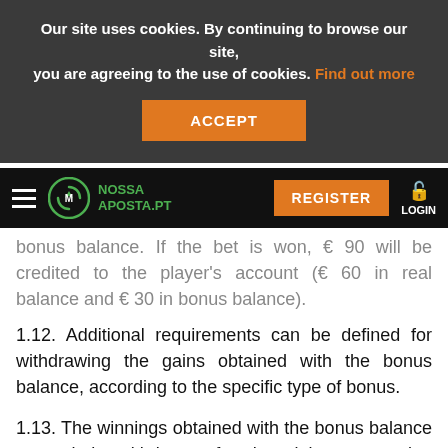Our site uses cookies. By continuing to browse our site, you are agreeing to the use of cookies. Find out more
ACCEPT
NOSSA APOSTA.PT | REGISTER | LOGIN
bonus balance. If the bet is won, € 90 will be credited to the player's account (€ 60 in real balance and € 30 in bonus balance).
1.12. Additional requirements can be defined for withdrawing the gains obtained with the bonus balance, according to the specific type of bonus.
1.13. The winnings obtained with the bonus balance can only be withdrawn after the minimum wagering requirement for that